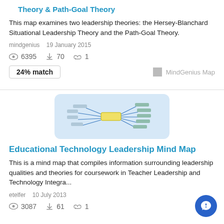Theory & Path-Goal Theory
This map examines two leadership theories: the Hersey-Blanchard Situational Leadership Theory and the Path-Goal Theory.
mindgenius   19 January 2015
6395   70   1
24% match   MindGenius Map
[Figure (illustration): Mind map thumbnail showing a central node with branches radiating outward on a blue background]
Educational Technology Leadership Mind Map
This is a mind map that compiles information surrounding leadership qualities and theories for coursework in Teacher Leadership and Technology Integra...
etelfer   10 July 2013
3087   61   1